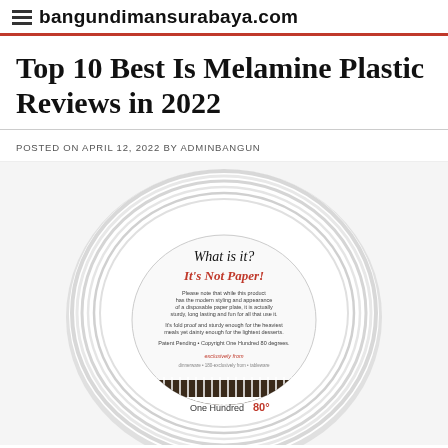bangundimansurabaya.com
Top 10 Best Is Melamine Plastic Reviews in 2022
POSTED ON APRIL 12, 2022 BY ADMINBANGUN
[Figure (photo): A white melamine plate styled to look like a paper plate, with a circular label in the center reading 'What is it? It's Not Paper!' along with small body text and 'One Hundred 80 degrees' branding at the bottom of the label. The plate has ridged edges typical of a paper plate design.]